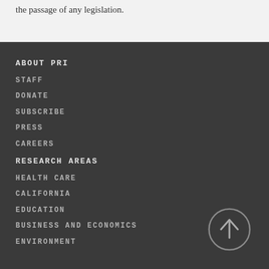the passage of any legislation.
ABOUT PRI
STAFF
DONATE
SUBSCRIBE
PRESS
CAREERS
RESEARCH AREAS
HEALTH CARE
CALIFORNIA
EDUCATION
BUSINESS AND ECONOMICS
ENVIRONMENT
[Figure (other): Up arrow circle button for scrolling to top]